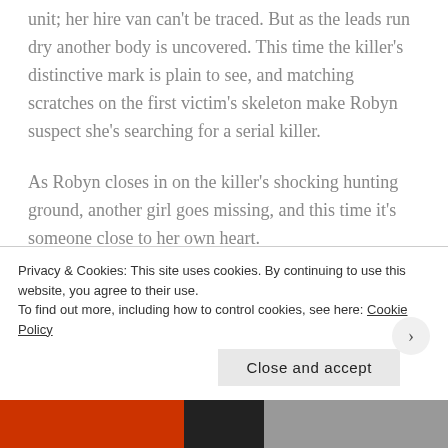unit; her hire van can't be traced. But as the leads run dry another body is uncovered. This time the killer's distinctive mark is plain to see, and matching scratches on the first victim's skeleton make Robyn suspect she's searching for a serial killer.
As Robyn closes in on the killer's shocking hunting ground, another girl goes missing, and this time it's someone close to her own heart.
Robyn can't lose another loved one. Can she find the
Privacy & Cookies: This site uses cookies. By continuing to use this website, you agree to their use.
To find out more, including how to control cookies, see here: Cookie Policy
Close and accept